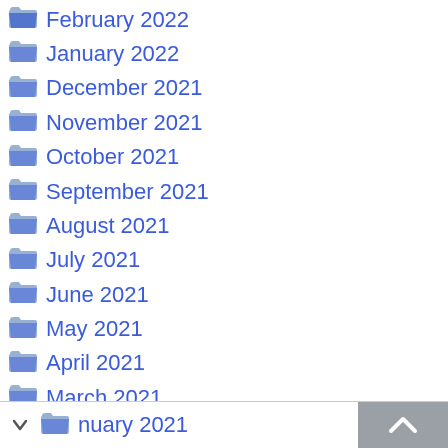February 2022
January 2022
December 2021
November 2021
October 2021
September 2021
August 2021
July 2021
June 2021
May 2021
April 2021
March 2021
February 2021
January 2021